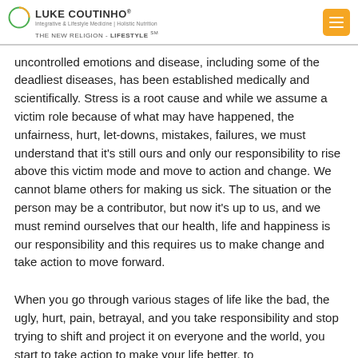LUKE COUTINHO® | Integrative & Lifestyle Medicine | Holistic Nutrition | THE NEW RELIGION - LIFESTYLE℠
uncontrolled emotions and disease, including some of the deadliest diseases, has been established medically and scientifically. Stress is a root cause and while we assume a victim role because of what may have happened, the unfairness, hurt, let-downs, mistakes, failures, we must understand that it's still ours and only our responsibility to rise above this victim mode and move to action and change. We cannot blame others for making us sick. The situation or the person may be a contributor, but now it's up to us, and we must remind ourselves that our health, life and happiness is our responsibility and this requires us to make change and take action to move forward.
When you go through various stages of life like the bad, the ugly, hurt, pain, betrayal, and you take responsibility and stop trying to shift and project it on everyone and the world, you start to take action to make your life better, to